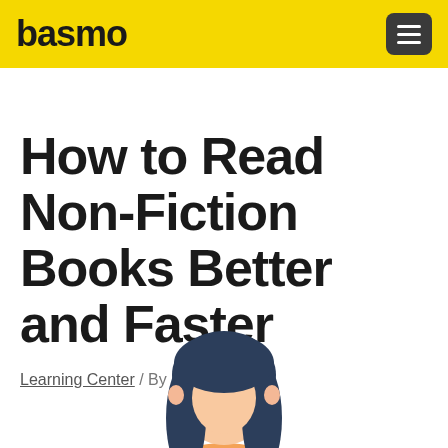basmo
How to Read Non-Fiction Books Better and Faster
Learning Center / By Basmo
[Figure (illustration): Illustration of a person with dark hair reading, shown from shoulders up, with teal/dark blue hair and an orange/peach colored top, against a white background.]